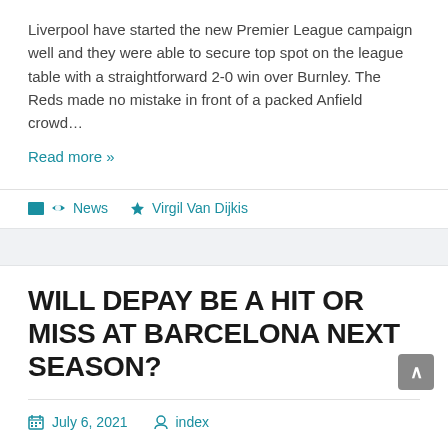Liverpool have started the new Premier League campaign well and they were able to secure top spot on the league table with a straightforward 2-0 win over Burnley. The Reds made no mistake in front of a packed Anfield crowd…
Read more »
News   Virgil Van Dijkis
WILL DEPAY BE A HIT OR MISS AT BARCELONA NEXT SEASON?
July 6, 2021   index
Barcelona fans have been appeased by the club for their patience and the errors made by the previous management judging by their recent business activities in the transfer window. Not only have Barca signed Sergio Agüero, Eric